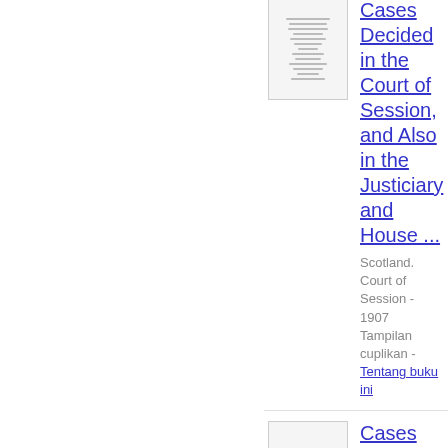[Figure (illustration): Thumbnail image of a book cover for Cases Decided in the Court of Session]
Cases Decided in the Court of Session, and Also in the Justiciary and House ...
Scotland. Court of Session - 1907 Tampilan cuplikan - Tentang buku ini
[Figure (illustration): Thumbnail image of a book cover for Cases Decided in the Court of Session]
Cases Decided in the Court of Session, and Also in the Justiciary and House ...
Scotland. Court of Session